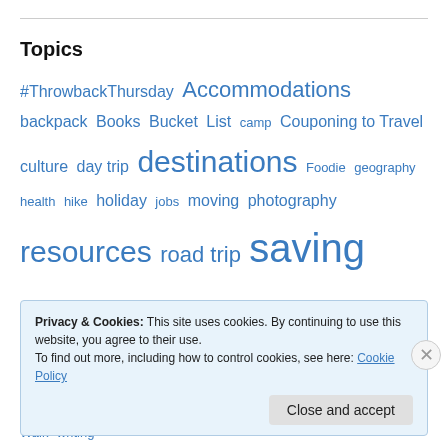Topics
#ThrowbackThursday Accommodations backpack Books Bucket List camp Couponing to Travel culture day trip destinations Foodie geography health hike holiday jobs moving photography resources road trip saving money souvenir Things to Do tour Travel Life travel tips Uncategorized voluntourism Walk writing
Privacy & Cookies: This site uses cookies. By continuing to use this website, you agree to their use. To find out more, including how to control cookies, see here: Cookie Policy